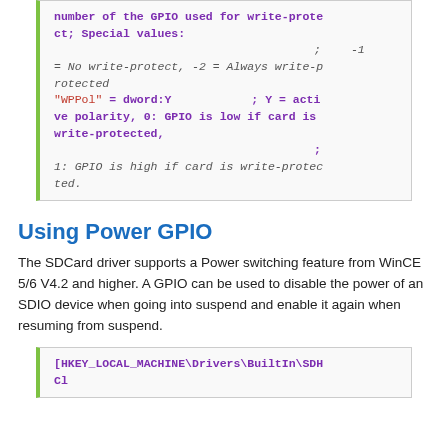number of the GPIO used for write-protect; Special values:
; -1 = No write-protect, -2 = Always write-protected
"WPPol" = dword:Y ; Y = active polarity, 0: GPIO is low if card is write-protected,
; 1: GPIO is high if card is write-protected.
Using Power GPIO
The SDCard driver supports a Power switching feature from WinCE 5/6 V4.2 and higher. A GPIO can be used to disable the power of an SDIO device when going into suspend and enable it again when resuming from suspend.
[HKEY_LOCAL_MACHINE\Drivers\BuiltIn\SDHCl